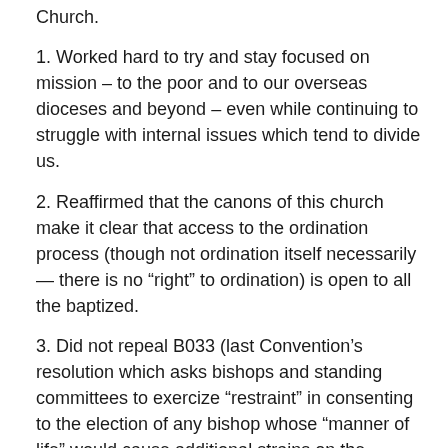Church.
1. Worked hard to try and stay focused on mission – to the poor and to our overseas dioceses and beyond – even while continuing to struggle with internal issues which tend to divide us.
2. Reaffirmed that the canons of this church make it clear that access to the ordination process (though not ordination itself necessarily — there is no “right” to ordination) is open to all the baptized.
3. Did not repeal B033 (last Convention’s resolution which asks bishops and standing committees to exercize “restraint” in consenting to the election of any bishop whose “manner of life” would cause additional strains on the Anglican Communion.)